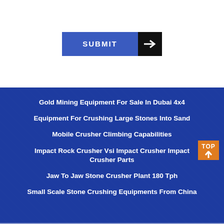[Figure (screenshot): Blue submit button with arrow icon on the right]
Gold Mining Equipment For Sale In Dubai 4x4
Equipment For Crushing Large Stones Into Sand
Mobile Crusher Climbing Capabilities
Impact Rock Crusher Vsi Impact Crusher Impact Crusher Parts
Jaw To Jaw Stone Crusher Plant 180 Tph
Small Scale Stone Crushing Equipments From China